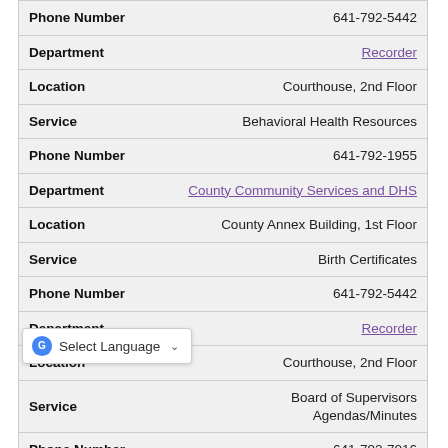| Phone Number | 641-792-5442 |
| Department | Recorder |
| Location | Courthouse, 2nd Floor |
| Service | Behavioral Health Resources |
| Phone Number | 641-792-1955 |
| Department | County Community Services and DHS |
| Location | County Annex Building, 1st Floor |
| Service | Birth Certificates |
| Phone Number | 641-792-5442 |
| Department | Recorder |
| Location | Courthouse, 2nd Floor |
| Service | Board of Supervisors Agendas/Minutes |
| Phone Number | 641-792-7016 |